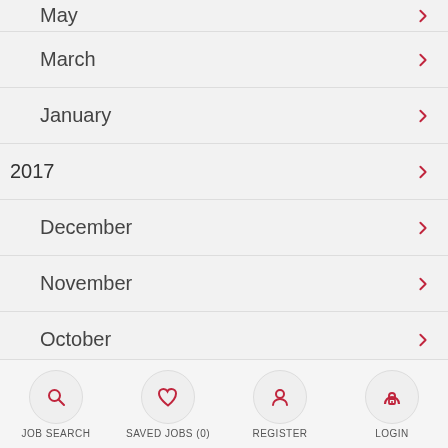May
March
January
2017
December
November
October
September
August
JOB SEARCH   SAVED JOBS (0)   REGISTER   LOGIN